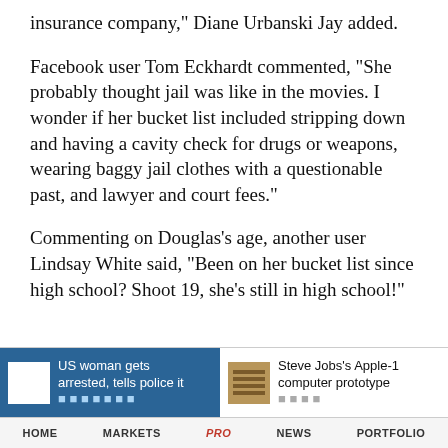insurance company," Diane Urbanski Jay added.
Facebook user Tom Eckhardt commented, "She probably thought jail was like in the movies. I wonder if her bucket list included stripping down and having a cavity check for drugs or weapons, wearing baggy jail clothes with a questionable past, and lawyer and court fees."
Commenting on Douglas's age, another user Lindsay White said, "Been on her bucket list since high school? Shoot 19, she's still in high school!"
[Figure (screenshot): Footer navigation bar with two article teasers: 'US woman gets arrested, tells police it...' on blue background with white thumbnail, and 'Steve Jobs's Apple-1 computer prototype...' with wood-colored thumbnail. Bottom nav shows HOME, MARKETS, PRO, NEWS, PORTFOLIO.]